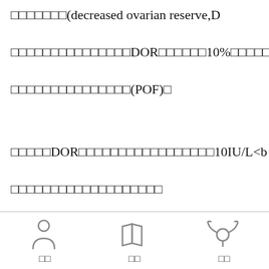□□□□□□□(decreased ovarian reserve,D
□□□□□□□□□□□□□□□DOR□□□□□□10%□□□□□
□□□□□□□□□□□□□□□(POF)□
□□□□□DOR□□□□□□□□□□□□□□□□□10IU/L<b
□□□□□□□□□□□□□□□□□□□
[Figure (illustration): Three icons at the bottom: a person/user icon, an open book icon, and a uterus/reproductive anatomy icon, each with a two-character Chinese label below]
□□    □□    □□